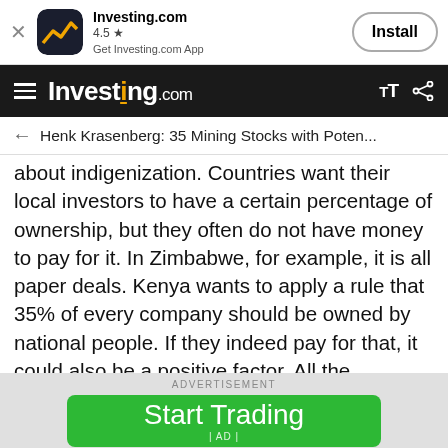[Figure (screenshot): Investing.com app banner with app icon, name, rating 4.5 stars, and Install button]
Investing.com
Henk Krasenberg: 35 Mining Stocks with Poten...
about indigenization. Countries want their local investors to have a certain percentage of ownership, but they often do not have money to pay for it. In Zimbabwe, for example, it is all paper deals. Kenya wants to apply a rule that 35% of every company should be owned by national people. If they indeed pay for that, it could also be a positive factor. All the companies need money for their progress, so if they can raise 35% of their requirements within those countries, that would
[Figure (screenshot): Green Start Trading advertisement button with AD label]